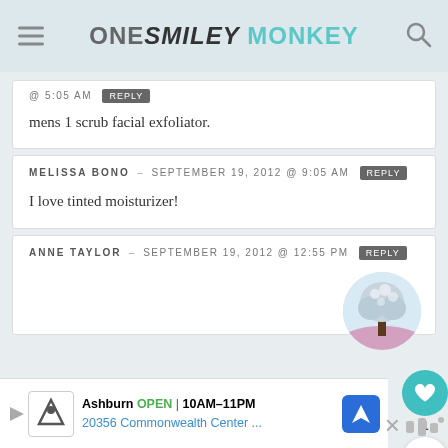ONE SMILEY MONKEY
@ 5:05 AM  REPLY
mens 1 scrub facial exfoliator.
MELISSA BONO – SEPTEMBER 19, 2012 @ 9:05 AM  REPLY
I love tinted moisturizer!
ANNE TAYLOR – SEPTEMBER 19, 2012 @ 12:55 PM  REPLY
[Figure (photo): Circular avatar photo of a tree with pink/purple ground]
Ashburn  OPEN  10AM–11PM  20356 Commonwealth Center ...